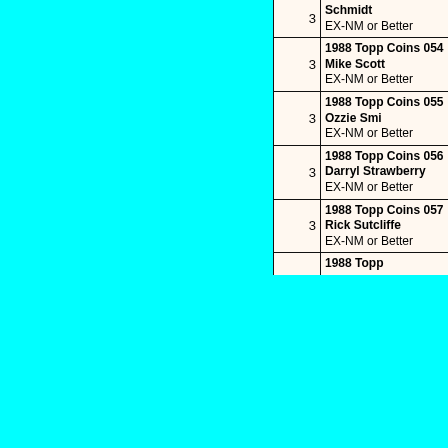| Qty | Description |
| --- | --- |
| 3 | Schmidt EX-NM or Better |
| 3 | 1988 Topp Coins 054 Mike Scott EX-NM or Better |
| 3 | 1988 Topp Coins 055 Ozzie Smi EX-NM or Better |
| 3 | 1988 Topp Coins 056 Darryl Strawberry EX-NM or Better |
| 3 | 1988 Topp Coins 057 Rick Sutcliffe EX-NM or Better |
|  | 1988 Topp |